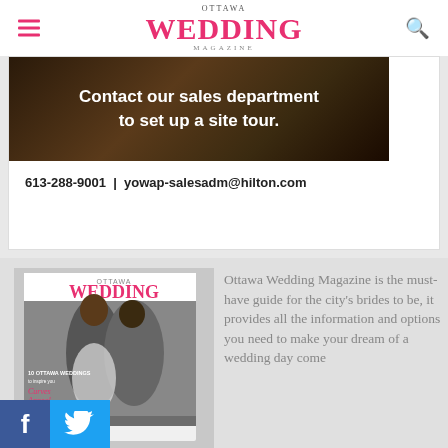OTTAWA WEDDING MAGAZINE
[Figure (photo): Dark background ad image with text: Contact our sales department to set up a site tour.]
613-288-9001 | yowap-salesadm@hilton.com
[Figure (photo): Ottawa Wedding Magazine cover showing a couple kissing, with text about Ottawa weddings and Curves Appeal]
Ottawa Wedding Magazine is the must-have guide for the city's brides to be, it provides all the information and options you need to make your dream of a wedding day come